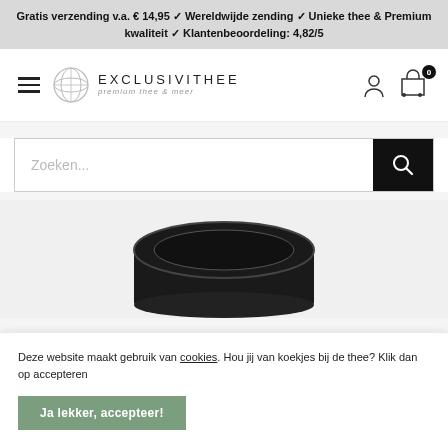Gratis verzending v.a. € 14,95 ✓ Wereldwijde zending ✓ Unieke thee & Premium kwaliteit ✓ Klantenbeoordeling: 4,82/5
[Figure (logo): Exclusivithee logo with globe icon and text 'EXCLUSIVITHEE premium thee & meer']
Zoeken...
[Figure (photo): Black tea canister/tin product photo, partially visible, showing round black container with metal strainer]
Deze website maakt gebruik van cookies. Hou jij van koekjes bij de thee? Klik dan op accepteren
Ja lekker, accepteer!